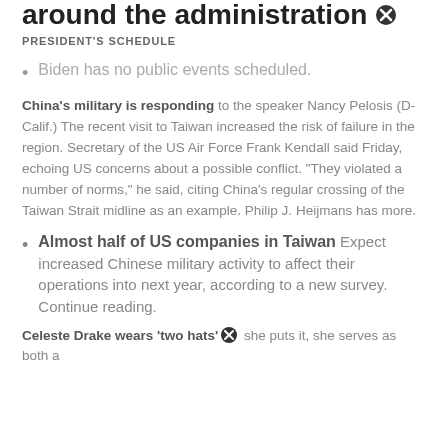around the administration
PRESIDENT'S SCHEDULE
Biden has no public events scheduled.
China's military is responding to the speaker Nancy Pelosis (D-Calif.) The recent visit to Taiwan increased the risk of failure in the region. Secretary of the US Air Force Frank Kendall said Friday, echoing US concerns about a possible conflict. "They violated a number of norms," he said, citing China's regular crossing of the Taiwan Strait midline as an example. Philip J. Heijmans has more.
Almost half of US companies in Taiwan Expect increased Chinese military activity to affect their operations into next year, according to a new survey. Continue reading.
Celeste Drake wears 'two hats' she puts it, she serves as both a